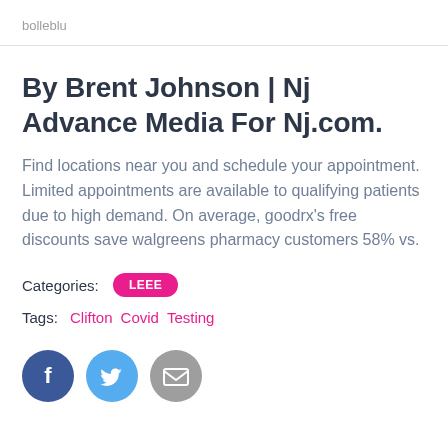bolleblu
By Brent Johnson | Nj Advance Media For Nj.com.
Find locations near you and schedule your appointment. Limited appointments are available to qualifying patients due to high demand. On average, goodrx's free discounts save walgreens pharmacy customers 58% vs.
Categories: LEEE
Tags: Clifton  Covid  Testing
[Figure (other): Social sharing buttons: Facebook (dark blue circle with f icon), Twitter (light blue circle with bird icon), Email (grey circle with envelope icon)]